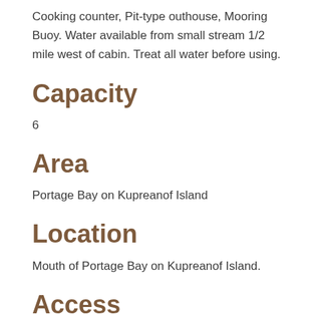Cooking counter, Pit-type outhouse, Mooring Buoy. Water available from small stream 1/2 mile west of cabin. Treat all water before using.
Capacity
6
Area
Portage Bay on Kupreanof Island
Location
Mouth of Portage Bay on Kupreanof Island.
Access